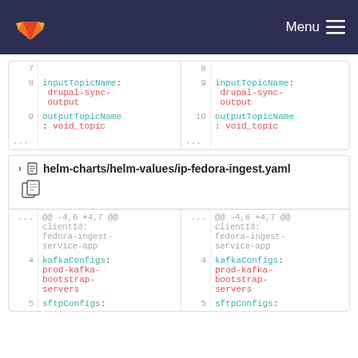GitLab Menu
| line_left | code_left | line_right | code_right |
| --- | --- | --- | --- |
| 7 |  | 8 |  |
| 8 | inputTopicName: drupal-sync-output | 9 | inputTopicName: drupal-sync-output |
| 9 | outputTopicName: void_topic | 10 | outputTopicName: void_topic |
| ... |  | ... |  |
helm-charts/helm-values/ip-fedora-ingest.yaml
| line_left | code_left | line_right | code_right |
| --- | --- | --- | --- |
| ... | @@ -4,6 +4,7 @@ clientId: fedora-ingest-service-app | ... | @@ -4,6 +4,7 @@ clientId: fedora-ingest-service-app |
| 4 | kafkaConfigs: prod-kafka-bootstrap-servers | 4 | kafkaConfigs: prod-kafka-bootstrap-servers |
| 5 | sftpConfigs: | 5 | sftpConfigs: |